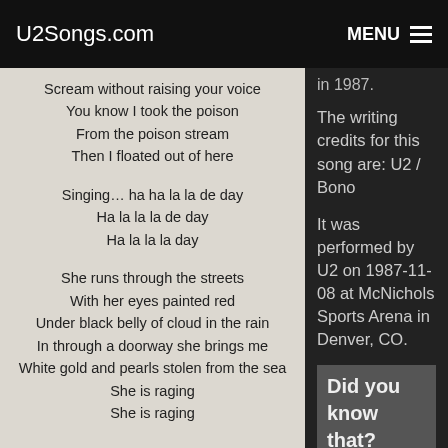U2Songs.com  MENU
in 1987.
Scream without raising your voice
You know I took the poison
From the poison stream
Then I floated out of here

Singing… ha ha la la de day
Ha la la la de day
Ha la la la day

She runs through the streets
With her eyes painted red
Under black belly of cloud in the rain
In through a doorway she brings me
White gold and pearls stolen from the sea
She is raging
She is raging
The writing credits for this song are: U2 / Bono
It was performed by U2 on 1987-11-08 at McNichols Sports Arena in Denver, CO.
Did you know that?